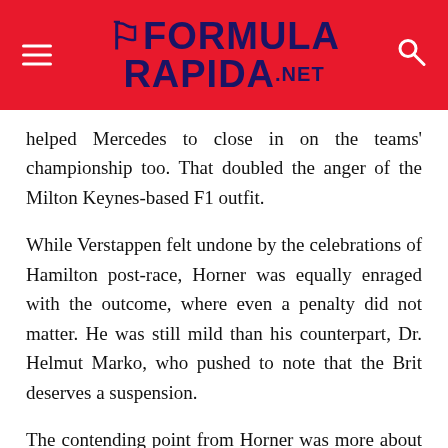FORMULA RAPIDA.NET
helped Mercedes to close in on the teams' championship too. That doubled the anger of the Milton Keynes-based F1 outfit.
While Verstappen felt undone by the celebrations of Hamilton post-race, Horner was equally enraged with the outcome, where even a penalty did not matter. He was still mild than his counterpart, Dr. Helmut Marko, who pushed to note that the Brit deserves a suspension.
The contending point from Horner was more about desperation from Hamilton, especially